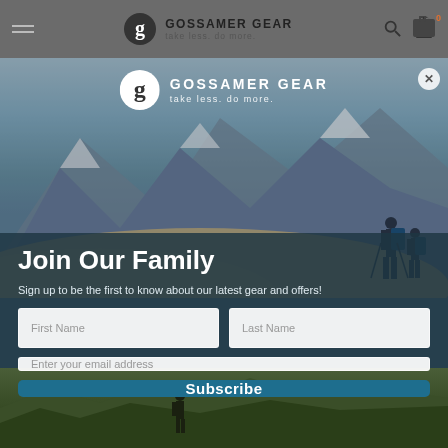[Figure (screenshot): Gossamer Gear website header with dark gray navigation bar, hamburger menu, logo with 'GOSSAMER GEAR take less. do more.' text, search icon, bag icon with 0 count]
[Figure (photo): Mountain landscape background with blue sky and snow-capped mountains, desert sand dunes in foreground, two hikers with backpacks visible on right side]
[Figure (logo): Gossamer Gear logo in white: circular G icon and text 'GOSSAMER GEAR take less. do more.']
Join Our Family
Sign up to be the first to know about our latest gear and offers!
First Name
Last Name
Enter your email address
Subscribe
[Figure (photo): Partial view of hiker on rocky terrain with green grass, bottom of page]